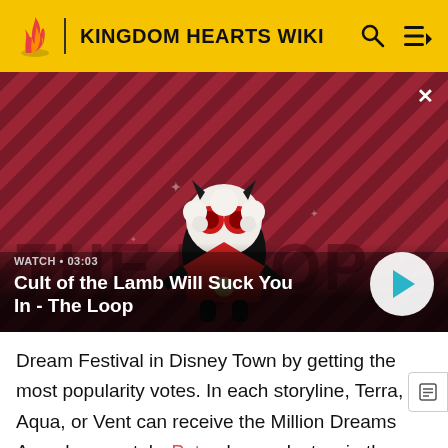KINGDOM HEARTS WIKI
[Figure (screenshot): Video thumbnail for 'Cult of the Lamb Will Suck You In - The Loop' showing a cartoon lamb character on a red diagonal striped background. Watch time shown as 03:03.]
WATCH • 03:03
Cult of the Lamb Will Suck You In - The Loop
Dream Festival in Disney Town by getting the most popularity votes. In each storyline, Terra, Aqua, or Vent can receive the Million Dreams Award separately. Pete also seeks to win the Million Dreams Award, disguising himself as both the false hero Captain Justice and the